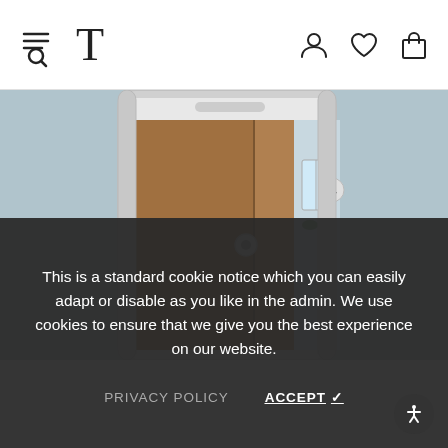Navigation bar with hamburger/search icon, T logo, user icon, heart icon, bag icon
[Figure (photo): A smartphone displaying what appears to be a room with a brown wooden door and a glimpse of a blue-walled room with a window and plant. A circular camera or doorbell device is visible on the door.]
This is a standard cookie notice which you can easily adapt or disable as you like in the admin. We use cookies to ensure that we give you the best experience on our website.
PRIVACY POLICY   ACCEPT ✓